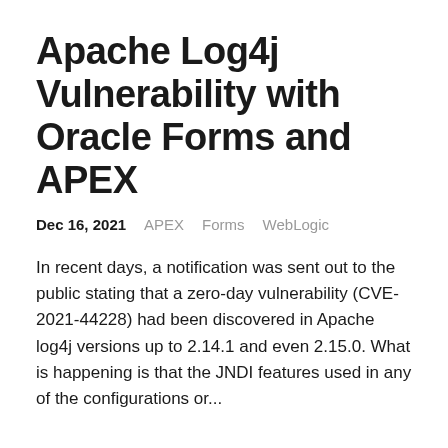Apache Log4j Vulnerability with Oracle Forms and APEX
Dec 16, 2021   APEX   Forms   WebLogic
In recent days, a notification was sent out to the public stating that a zero-day vulnerability (CVE-2021-44228) had been discovered in Apache log4j versions up to 2.14.1 and even 2.15.0. What is happening is that the JNDI features used in any of the configurations or...